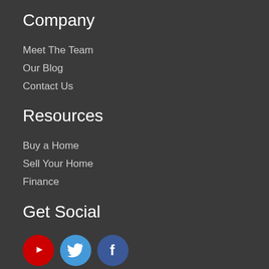Company
Meet The Team
Our Blog
Contact Us
Resources
Buy a Home
Sell Your Home
Finance
Get Social
[Figure (illustration): Social media icons: YouTube (red circle with play button), Twitter (blue circle with bird), Facebook (blue circle with f)]
About Us
Brandon Brittingham's Team is Salisbury Maryland's most innovative real estate team.